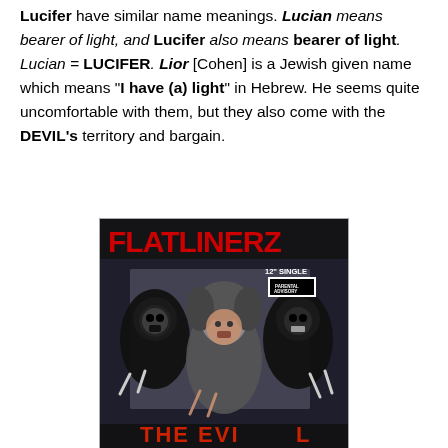Lucifer have similar name meanings. Lucian means bearer of light, and Lucifer also means bearer of light. Lucian = LUCIFER. Lior [Cohen] is a Jewish given name which means "I have (a) light" in Hebrew. He seems quite uncomfortable with them, but they also come with the DEVIL's territory and bargain.
[Figure (photo): Flatlinerz 12-inch single album cover showing three figures in dark clothing with the text FLATLINERZ in large red letters at the top, '12 SINGLE' and a Parental Advisory label in the upper right, and 'THE EVIL' text partially visible at the bottom.]